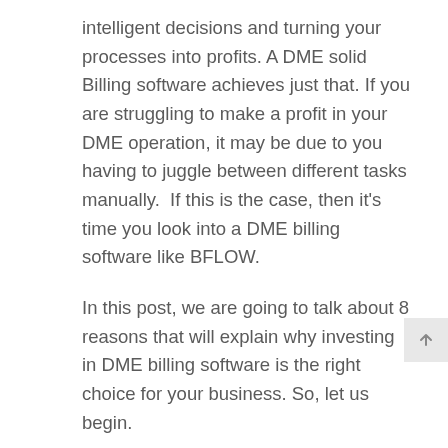intelligent decisions and turning your processes into profits. A DME solid Billing software achieves just that. If you are struggling to make a profit in your DME operation, it may be due to you having to juggle between different tasks manually.  If this is the case, then it's time you look into a DME billing software like BFLOW.
In this post, we are going to talk about 8 reasons that will explain why investing in DME billing software is the right choice for your business. So, let us begin.
8 Reasons Why You Need A DME Billing Software for Your Business